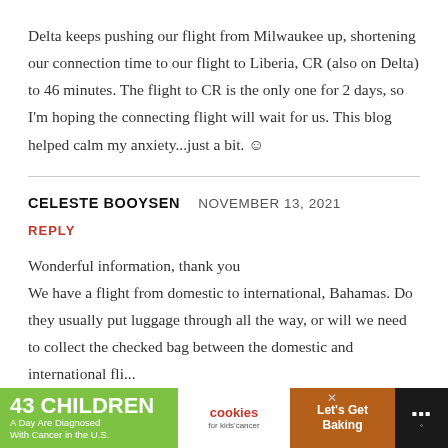Delta keeps pushing our flight from Milwaukee up, shortening our connection time to our flight to Liberia, CR (also on Delta) to 46 minutes. The flight to CR is the only one for 2 days, so I'm hoping the connecting flight will wait for us. This blog helped calm my anxiety...just a bit. ☺
CELESTE BOOYSEN   NOVEMBER 13, 2021
REPLY
Wonderful information, thank you
We have a flight from domestic to international, Bahamas. Do they usually put luggage through all the way, or will we need to collect the checked bag between the domestic and international fli...
[Figure (infographic): Advertisement banner: '43 CHILDREN A Day Are Diagnosed With Cancer in the U.S.' with cookies for kids' cancer logo and 'Let's Get Baking' text on orange/brown background]